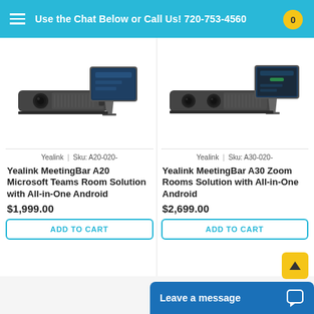Use the Chat Below or Call Us! 720-753-4560
[Figure (photo): Yealink MeetingBar A20 device — soundbar with integrated camera and touchscreen tablet on stand]
[Figure (photo): Yealink MeetingBar A30 device — wider soundbar with dual cameras and touchscreen tablet on stand]
Yealink | Sku: A20-020-
Yealink | Sku: A30-020-
Yealink MeetingBar A20 Microsoft Teams Room Solution with All-in-One Android
Yealink MeetingBar A30 Zoom Rooms Solution with All-in-One Android
$1,999.00
$2,699.00
ADD TO CART
ADD TO CART
Leave a message